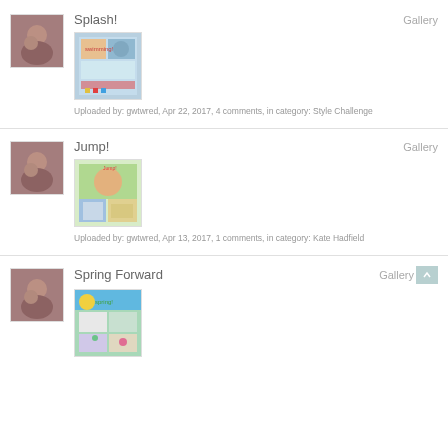[Figure (photo): Avatar thumbnail of woman and child]
Splash!
Gallery
[Figure (photo): Scrapbook page thumbnail with swimming/splash theme]
Uploaded by: gwtwred, Apr 22, 2017, 4 comments, in category: Style Challenge
[Figure (photo): Avatar thumbnail of woman and child]
Jump!
Gallery
[Figure (photo): Scrapbook page thumbnail with jumping theme]
Uploaded by: gwtwred, Apr 13, 2017, 1 comments, in category: Kate Hadfield
[Figure (photo): Avatar thumbnail of woman and child]
Spring Forward
Gallery
[Figure (photo): Scrapbook page thumbnail with spring theme]